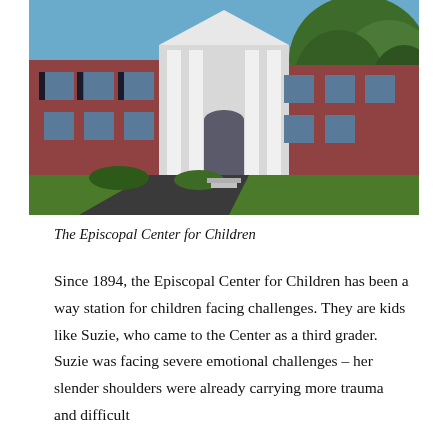[Figure (photo): A large red-brick building with white colonial columns and a triangular pediment at the entrance, surrounded by green trees and a driveway in the foreground on a sunny day.]
The Episcopal Center for Children
Since 1894, the Episcopal Center for Children has been a way station for children facing challenges. They are kids like Suzie, who came to the Center as a third grader. Suzie was facing severe emotional challenges – her slender shoulders were already carrying more trauma and difficult